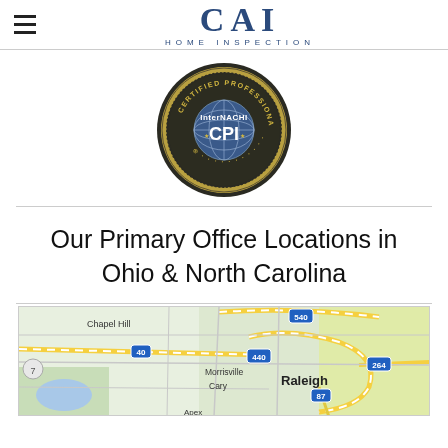CAI HOME INSPECTION
[Figure (logo): InterNACHI CPI Certified Professional Inspector seal/badge - circular gold and dark colored badge]
Our Primary Office Locations in Ohio & North Carolina
[Figure (map): Google Maps showing Raleigh NC area including Chapel Hill, Morrisville, Cary, Raleigh with roads 40, 440, 540, 264, 87]